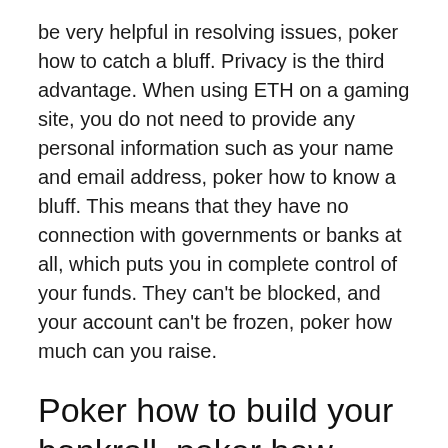be very helpful in resolving issues, poker how to catch a bluff. Privacy is the third advantage. When using ETH on a gaming site, you do not need to provide any personal information such as your name and email address, poker how to know a bluff. This means that they have no connection with governments or banks at all, which puts you in complete control of your funds. They can't be blocked, and your account can't be frozen, poker how much can you raise.
Poker how to build your bankroll, poker how much to re raise
Another blockchain advantage that has is its